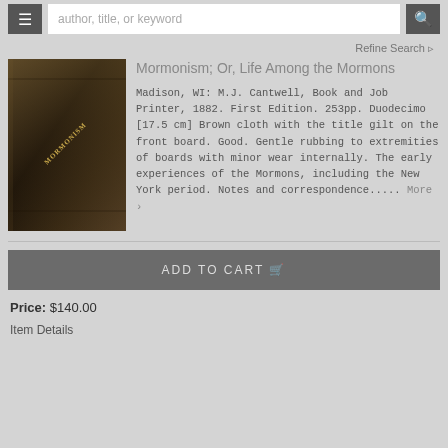author, title, or keyword
Refine Search
Mormonism; Or, Life Among the Mormons
Madison, WI: M.J. Cantwell, Book and Job Printer, 1882. First Edition. 253pp. Duodecimo [17.5 cm] Brown cloth with the title gilt on the front board. Good. Gentle rubbing to extremities of boards with minor wear internally. The early experiences of the Mormons, including the New York period. Notes and correspondence..... More >
ADD TO CART
Price: $140.00
Item Details